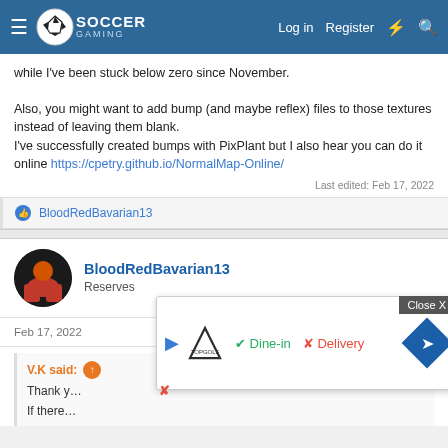Soccer Gaming — Log in | Register
while I've been stuck below zero since November.
Also, you might want to add bump (and maybe reflex) files to those textures instead of leaving them blank.
I've successfully created bumps with PixPlant but I also hear you can do it online https://cpetry.github.io/NormalMap-Online/
Last edited: Feb 17, 2022
BloodRedBavarian13
BloodRedBavarian13
Reserves
Feb 17, 2022  #95
V.K said:
Thank y...
If there...